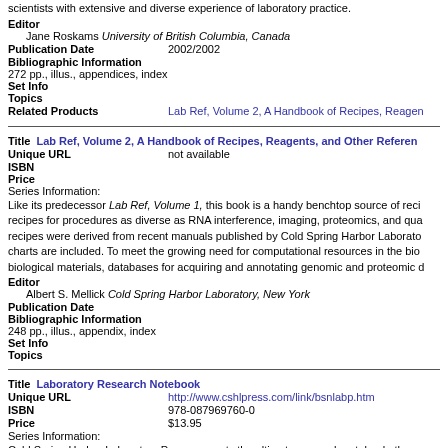scientists with extensive and diverse experience of laboratory practice.
Editor
   Jane Roskams University of British Columbia, Canada
Publication Date   2002/2002
Bibliographic Information
272 pp., illus., appendices, index
Set Info
Topics
Related Products   Lab Ref, Volume 2, A Handbook of Recipes, Reagen...
Title   Lab Ref, Volume 2, A Handbook of Recipes, Reagents, and Other Referen...
Unique URL   not available
ISBN
Price
Series Information:
Like its predecessor Lab Ref, Volume 1, this book is a handy benchtop source of recipes for procedures as diverse as RNA interference, imaging, proteomics, and qua... recipes were derived from recent manuals published by Cold Spring Harbor Laborato... charts are included. To meet the growing need for computational resources in the bio... biological materials, databases for acquiring and annotating genomic and proteomic d...
Editor
   Albert S. Mellick Cold Spring Harbor Laboratory, New York
Publication Date
Bibliographic Information
248 pp., illus., appendix, index
Set Info
Topics
Title   Laboratory Research Notebook
Unique URL   http://www.cshlpress.com/link/bsnlabp.htm
ISBN   978-087969760-0
Price   $13.95
Series Information:
Cold Spring Harbor Laboratory Press presents the ultimate research notebook, the p...